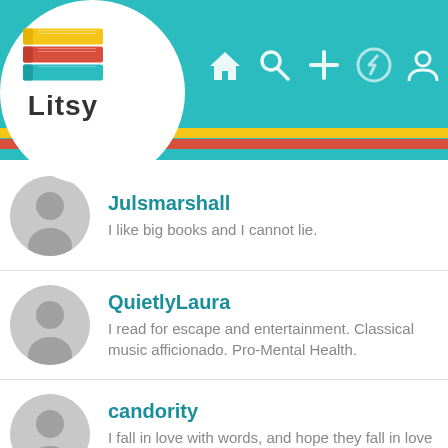[Figure (screenshot): Litsy app logo with stacked colorful books icon and 'Litsy' text in a white circle]
[Figure (screenshot): Litsy app top navigation bar with home, search, add, activity, and profile icons on teal background with yellow, red, and teal stripes]
Julsmarshall
I like big books and I cannot lie.
QuietlyLaura
I read for escape and entertainment. Classical music afficionado. Pro-Mental Health.
candority
I fall in love with words, and hope they fall in love with me as well 📚 Librarian 📚
Balibee146
Scottish and dog obsessed, also cat person ♥
rockpools